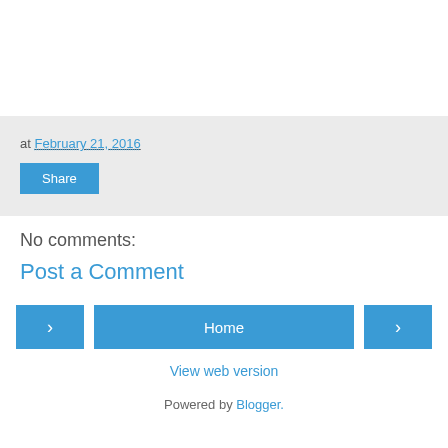at February 21, 2016
Share
No comments:
Post a Comment
Home
View web version
Powered by Blogger.